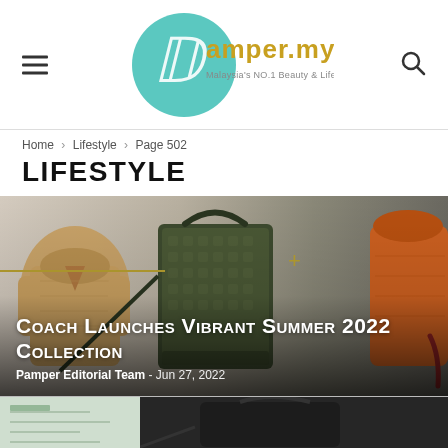pamper.my — Malaysia's NO.1 Beauty & Lifestyle Website
Home › Lifestyle › Page 502
LIFESTYLE
[Figure (photo): Featured article image showing Coach Summer 2022 Collection — a tan knit sweater on left, green monogram Coach crossbody bag in center, orange sweater on right, on a light grey/beige background with gold line decoration and plus symbol]
Coach Launches Vibrant Summer 2022 Collection
Pamper Editorial Team - Jun 27, 2022
[Figure (photo): Bottom strip showing two partial article thumbnail images — left appears to be a light textured paper/document, right is a dark grey/black leather bag or accessory]